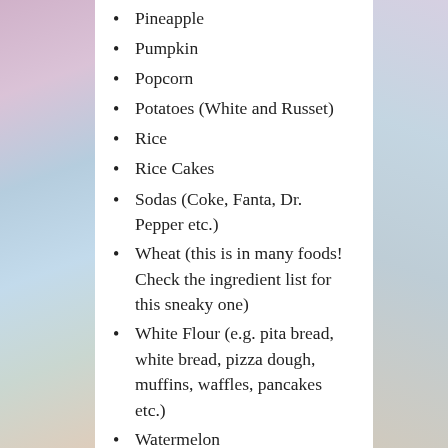Pineapple
Pumpkin
Popcorn
Potatoes (White and Russet)
Rice
Rice Cakes
Sodas (Coke, Fanta, Dr. Pepper etc.)
Wheat (this is in many foods! Check the ingredient list for this sneaky one)
White Flour (e.g. pita bread, white bread, pizza dough, muffins, waffles, pancakes etc.)
Watermelon
For a more extensive list see the chart above in the glycemic index section.
Reduce your intake of foods rich in omega 6